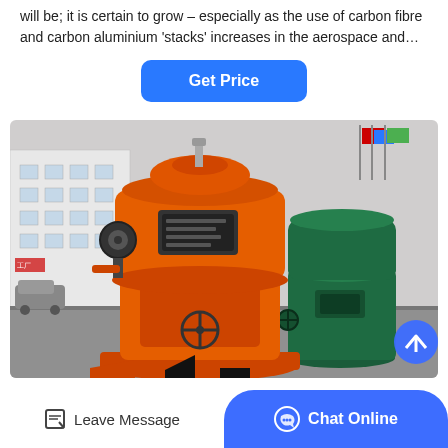will be; it is certain to grow – especially as the use of carbon fibre and carbon aluminium 'stacks' increases in the aerospace and…
Get Price
[Figure (photo): Industrial grinding mill machines in an outdoor factory yard. A large orange cylindrical mill machine is in the foreground, with a teal/dark green machine behind it to the right. White factory buildings are visible in the background, along with flags.]
Leave Message
Chat Online